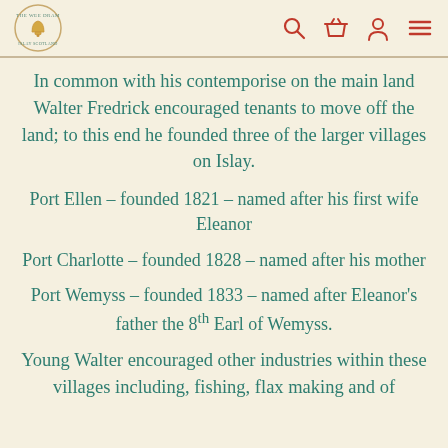The Wee Dram [logo] [search icon] [basket icon] [account icon] [menu icon]
In common with his contemporise on the main land Walter Fredrick encouraged tenants to move off the land; to this end he founded three of the larger villages on Islay.
Port Ellen – founded 1821 – named after his first wife Eleanor
Port Charlotte – founded 1828 – named after his mother
Port Wemyss – founded 1833 – named after Eleanor's father the 8th Earl of Wemyss.
Young Walter encouraged other industries within these villages including, fishing, flax making and of